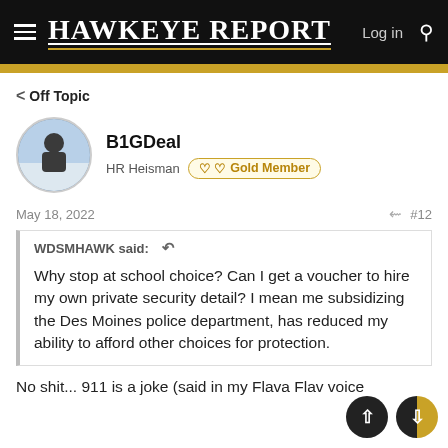HAWKEYE REPORT   Log in
Off Topic
B1GDeal
HR Heisman  Gold Member
May 18, 2022   #12
WDSMHAWK said:  Why stop at school choice? Can I get a voucher to hire my own private security detail? I mean me subsidizing the Des Moines police department, has reduced my ability to afford other choices for protection.
No shit... 911 is a joke (said in my Flava Flav voice